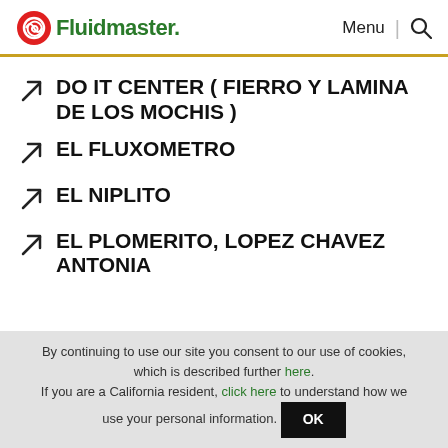Fluidmaster. Menu | Search
DO IT CENTER ( FIERRO Y LAMINA DE LOS MOCHIS )
EL FLUXOMETRO
EL NIPLITO
EL PLOMERITO, LOPEZ CHAVEZ ANTONIA
By continuing to use our site you consent to our use of cookies, which is described further here. If you are a California resident, click here to understand how we use your personal information. OK